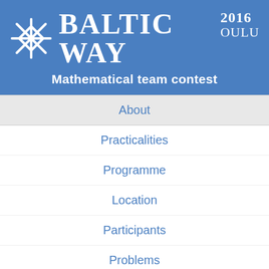[Figure (logo): Baltic Way 2016 Oulu logo with snowflake icon and text: BALTIC WAY 2016 OULU, Mathematical team contest]
Mathematical team contest
About
Practicalities
Programme
Location
Participants
Problems
Results
Photos